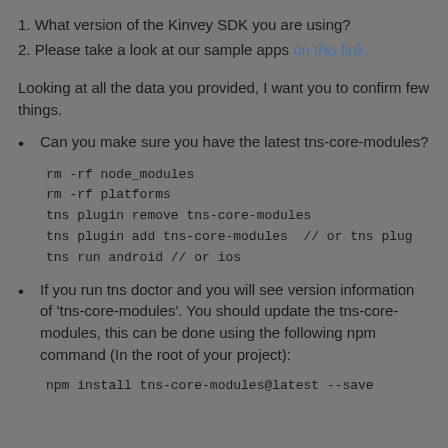1. What version of the Kinvey SDK you are using?
2. Please take a look at our sample apps on this link.
Looking at all the data you provided, I want you to confirm few things.
Can you make sure you have the latest tns-core-modules?
rm -rf node_modules
rm -rf platforms
tns plugin remove tns-core-modules
tns plugin add tns-core-modules  // or tns plug
tns run android // or ios
If you run tns doctor and you will see version information of 'tns-core-modules'. You should update the tns-core-modules, this can be done using the following npm command (In the root of your project):
npm install tns-core-modules@latest --save